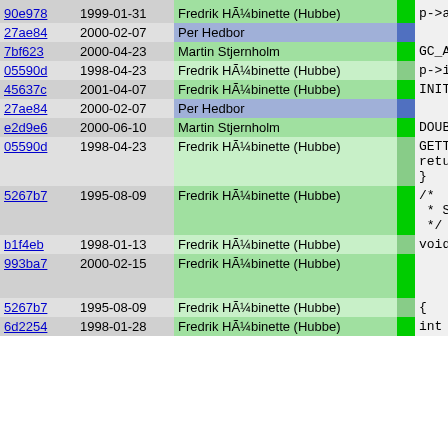| hash | date | author | bar | code |
| --- | --- | --- | --- | --- |
| 90e978 | 1999-01-31 | Fredrik HÃ¼binette (Hubbe) |  | p->align |
| 27ae84 | 2000-02-07 | Per Hedbor |  |  |
| 7bf623 | 2000-04-23 | Martin Stjernholm |  | GC_ALLOC |
| 05590d | 1998-04-23 | Fredrik HÃ¼binette (Hubbe) |  | p->id=++ |
| 45637c | 2001-04-07 | Fredrik HÃ¼binette (Hubbe) |  | INIT_PIK |
| 27ae84 | 2000-02-07 | Per Hedbor |  |  |
| e2d9e6 | 2000-06-10 | Martin Stjernholm |  | DOUBLELI |
| 05590d | 1998-04-23 | Fredrik HÃ¼binette (Hubbe) |  | GETTIMEO
return p
} |
| 5267b7 | 1995-08-09 | Fredrik HÃ¼binette (Hubbe) |  | /*
 * Start b
 */ |
| b1f4eb | 1998-01-13 | Fredrik HÃ¼binette (Hubbe) |  | void low_s |
| 993ba7 | 2000-02-15 | Fredrik HÃ¼binette (Hubbe) |  |  |
| 5267b7 | 1995-08-09 | Fredrik HÃ¼binette (Hubbe) |  | { |
| 6d2254 | 1998-01-28 | Fredrik HÃ¼binette (Hubbe) |  | int e,id |